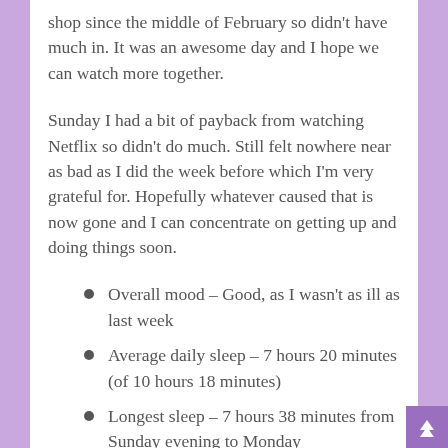shop since the middle of February so didn't have much in. It was an awesome day and I hope we can watch more together.
Sunday I had a bit of payback from watching Netflix so didn't do much. Still felt nowhere near as bad as I did the week before which I'm very grateful for. Hopefully whatever caused that is now gone and I can concentrate on getting up and doing things soon.
Overall mood – Good, as I wasn't as ill as last week
Average daily sleep – 7 hours 20 minutes (of 10 hours 18 minutes)
Longest sleep – 7 hours 38 minutes from Sunday evening to Monday morning (of 11 hours 30 minutes)